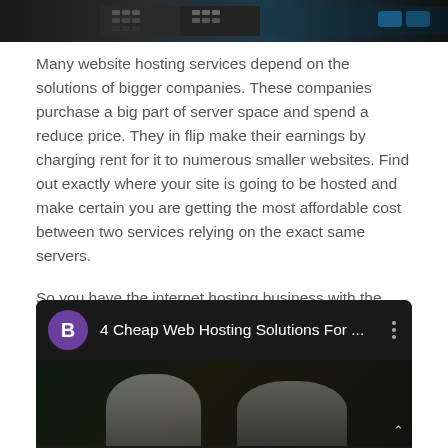[Figure (photo): Top cropped image showing server/computer equipment in dark background]
Many website hosting services depend on the solutions of bigger companies. These companies purchase a big part of server space and spend a reduce price. They in flip make their earnings by charging rent for it to numerous smaller websites. Find out exactly where your site is going to be hosted and make certain you are getting the most affordable cost between two services relying on the exact same servers.
So you have the internet hosting business with the web site builder tool you want to choose. The next stage is to signup for an account. Either you are heading for a free or paid services, study cautiously the agreement.
[Figure (screenshot): Video card thumbnail for '4 Cheap Web Hosting Solutions For ...' with purple avatar icon showing letter B, three-dot menu, and dark video thumbnail showing two people]